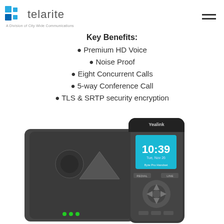telarite — A Division of City Wide Communications
Key Benefits:
Premium HD Voice
Noise Proof
Eight Concurrent Calls
5-way Conference Call
TLS & SRTP security encryption
[Figure (photo): Yealink DECT cordless phone handset showing 10:39 time display and a base/charging station unit, photographed against a white background]